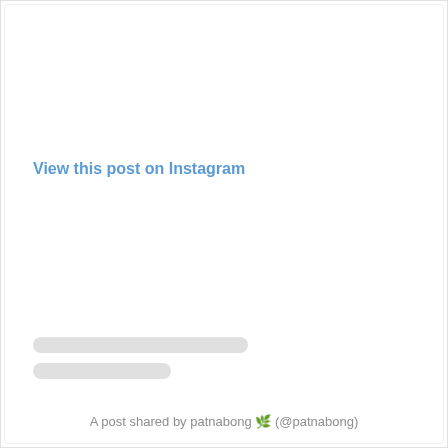View this post on Instagram
[Figure (screenshot): Instagram embed placeholder with heart icon, comment icon, bookmark icon, and two gray placeholder text lines]
A post shared by patnabong 🌿 (@patnabong)